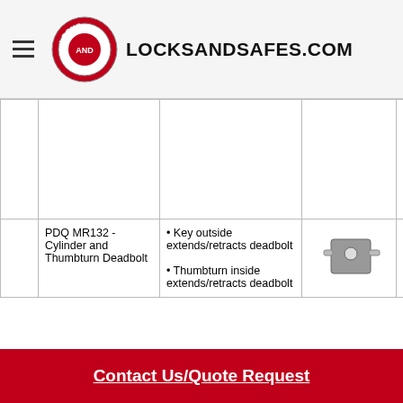LOCKSANDSAFES.COM
|  | Product | Features | Image | J Sectional Trim Round Rose | J Sectional Trim Square Rose |
| --- | --- | --- | --- | --- | --- |
|  |  |  |  | Click here for MR131 with J Sectional Trim with Round Rose | Click here for MR131 with J Sectional Trim with Square Rose |
|  | PDQ MR132 - Cylinder and Thumbturn Deadbolt | • Key outside extends/retracts deadbolt
• Thumbturn inside extends/retracts deadbolt | [image] | Click here for MR132 with J Sectional Trim with Round Rose | Click here for MR132 with J Sectional Trim with Square Rose |
Contact Us/Quote Request